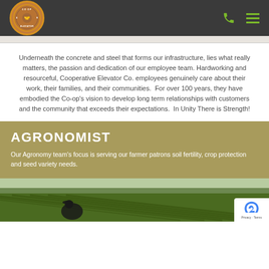Co-op Elevator logo with phone and menu icons
Underneath the concrete and steel that forms our infrastructure, lies what really matters, the passion and dedication of our employee team. Hardworking and resourceful, Cooperative Elevator Co. employees genuinely care about their work, their families, and their communities.  For over 100 years, they have embodied the Co-op’s vision to develop long term relationships with customers and the community that exceeds their expectations.  In Unity There is Strength!
AGRONOMIST
Our Agronomy team’s focus is serving our farmer patrons soil fertility, crop protection and seed variety needs.
[Figure (photo): Farmer kneeling in a green crop field, examining plants, with rows of crops extending to the horizon.]